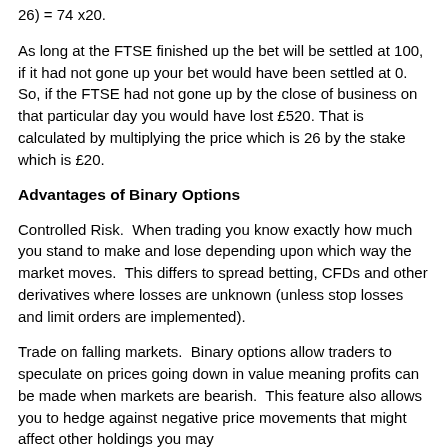26) = 74 x20.
As long at the FTSE finished up the bet will be settled at 100, if it had not gone up your bet would have been settled at 0. So, if the FTSE had not gone up by the close of business on that particular day you would have lost £520. That is calculated by multiplying the price which is 26 by the stake which is £20.
Advantages of Binary Options
Controlled Risk.  When trading you know exactly how much you stand to make and lose depending upon which way the market moves.  This differs to spread betting, CFDs and other derivatives where losses are unknown (unless stop losses and limit orders are implemented).
Trade on falling markets.  Binary options allow traders to speculate on prices going down in value meaning profits can be made when markets are bearish.  This feature also allows you to hedge against negative price movements that might affect other holdings you may